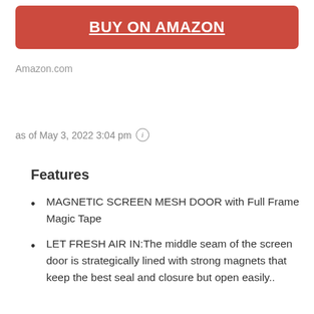[Figure (other): Red button with text BUY ON AMAZON]
Amazon.com
as of May 3, 2022 3:04 pm ℹ
Features
MAGNETIC SCREEN MESH DOOR with Full Frame Magic Tape
LET FRESH AIR IN:The middle seam of the screen door is strategically lined with strong magnets that keep the best seal and closure but open easily..